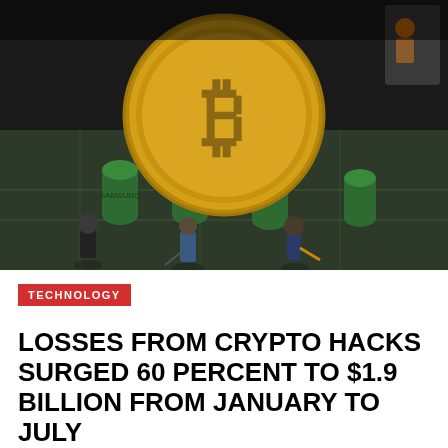[Figure (photo): Miniature figurines of workers digging and laboring around a large golden Bitcoin coin placed on a circuit board, representing cryptocurrency mining.]
TECHNOLOGY
LOSSES FROM CRYPTO HACKS SURGED 60 PERCENT TO $1.9 BILLION FROM JANUARY TO JULY
Losses arising from cryptocurrency hacks jumped nearly 60 per cent in the first seven months of the year to $1.9 billion, propelled by a surge...